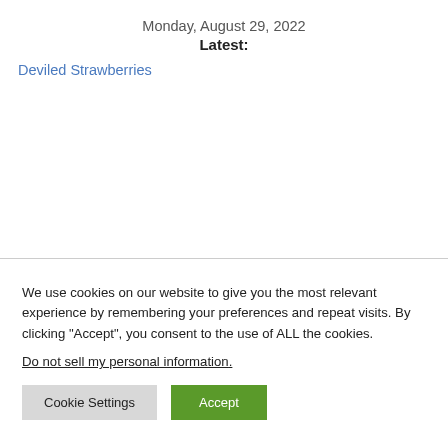Monday, August 29, 2022
Latest:
Deviled Strawberries
We use cookies on our website to give you the most relevant experience by remembering your preferences and repeat visits. By clicking “Accept”, you consent to the use of ALL the cookies.
Do not sell my personal information.
Cookie Settings  Accept